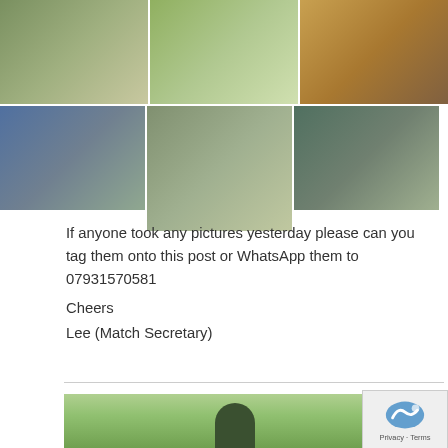[Figure (photo): Grid of 6 fishing photos: top row shows a fishing setup/tent, group of anglers by water, two people holding a fish; bottom row shows adults and child by water, man and child with fish, man seated with fish at lakeside]
If anyone took any pictures yesterday please can you tag them onto this post or WhatsApp them to 07931570581
Cheers
Lee (Match Secretary)
[Figure (photo): Partial photo of a person wearing a blue cap outdoors, with green foliage and a wooden structure visible]